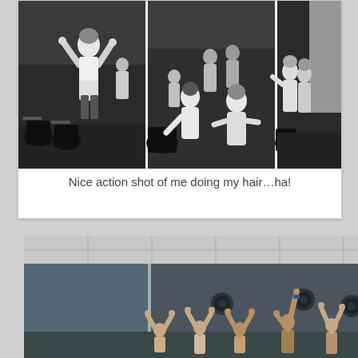[Figure (photo): Black and white triptych photo of women in a spinning/cycling class; left panel shows a woman with arms raised doing her hair, center and right panels show instructor and participants on stationary bikes]
Nice action shot of me doing my hair…ha!
[Figure (photo): Color photo of people in a fitness/yoga class with arms raised, in a room with teal/grey walls and a large mirror; ceiling tiles visible overhead]